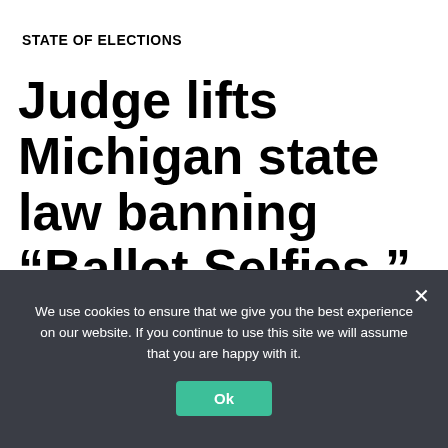STATE OF ELECTIONS
Judge lifts Michigan state law banning “Ballot Selfies,” but Sixth Circuit reverses four days later
Election Law Society · February 21, 2017 ·
We use cookies to ensure that we give you the best experience on our website. If you continue to use this site we will assume that you are happy with it.